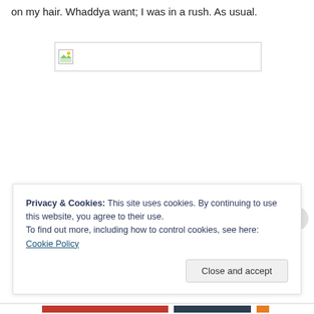on my hair. Whaddya want; I was in a rush. As usual.
[Figure (other): Broken image placeholder - a small image icon with a white rectangle border]
Privacy & Cookies: This site uses cookies. By continuing to use this website, you agree to their use.
To find out more, including how to control cookies, see here: Cookie Policy
Close and accept